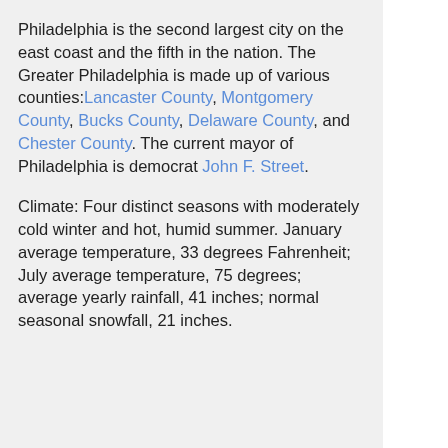Philadelphia is the second largest city on the east coast and the fifth in the nation. The Greater Philadelphia is made up of various counties: Lancaster County, Montgomery County, Bucks County, Delaware County, and Chester County. The current mayor of Philadelphia is democrat John F. Street.
Climate: Four distinct seasons with moderately cold winter and hot, humid summer. January average temperature, 33 degrees Fahrenheit; July average temperature, 75 degrees; average yearly rainfall, 41 inches; normal seasonal snowfall, 21 inches.